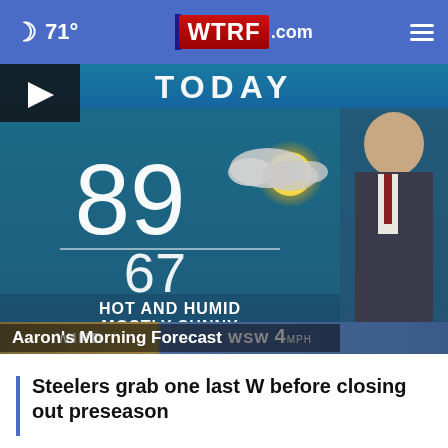🌙 71° | WTRF.com
[Figure (screenshot): Weather forecast video thumbnail showing 'TODAY' banner, temperature high of 89 and low of 67, condition 'HOT AND HUMID MOSTLY SUNNY', wind WSW 4MPH, with a partly cloudy/sunny weather icon, and a male TV meteorologist standing to the right. Caption overlay: Aaron's Morning Forecast.]
Steelers grab one last W before closing out preseason